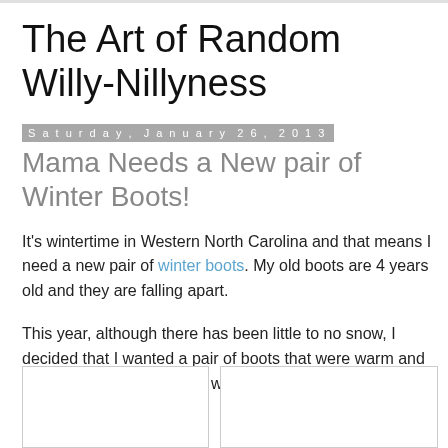The Art of Random Willy-Nillyness
Saturday, January 26, 2013
Mama Needs a New pair of Winter Boots!
It's wintertime in Western North Carolina and that means I need a new pair of winter boots. My old boots are 4 years old and they are falling apart.
This year, although there has been little to no snow, I decided that I wanted a pair of boots that were warm and had fur. I don't know why I want furry boots but I do.
[Figure (photo): Partial image placeholder at bottom left]
[Figure (photo): Partial image placeholder at bottom right]